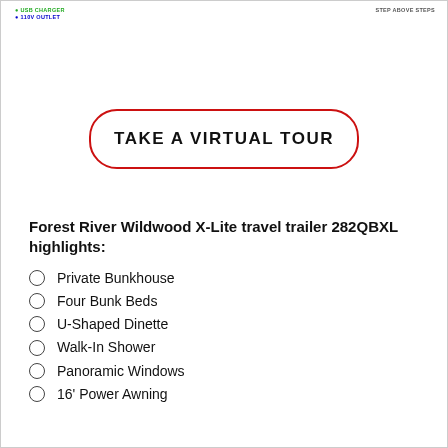USB CHARGER
110V OUTLET
STEP ABOVE STEPS
[Figure (other): Take a Virtual Tour button with red rounded rectangle border]
Forest River Wildwood X-Lite travel trailer 282QBXL highlights:
Private Bunkhouse
Four Bunk Beds
U-Shaped Dinette
Walk-In Shower
Panoramic Windows
16' Power Awning